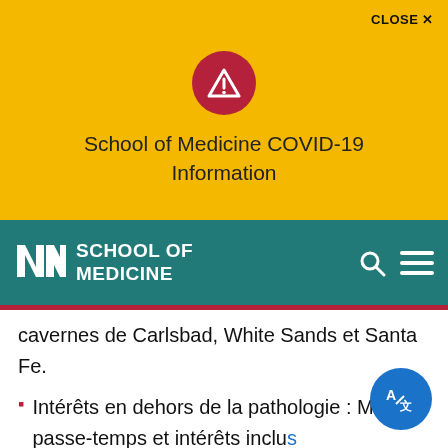[Figure (screenshot): Yellow COVID-19 information banner with red warning triangle icon and CLOSE X button]
School of Medicine COVID-19 Information
[Figure (logo): UNM School of Medicine logo on teal navigation bar with search and menu icons]
cavernes de Carlsbad, White Sands et Santa Fe.
Intérêts en dehors de la pathologie : Mes passe-temps et intérêts inclus l'exploration d'Eorzea (le monde magique en ligne dans Final Fantasy